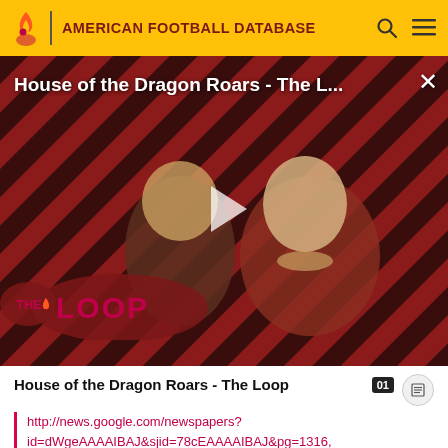AMERICAN FOOTBALL DATABASE
[Figure (screenshot): Video thumbnail for 'House of the Dragon Roars - The Loop' showing two characters in medieval fantasy costume against a red and black diagonal stripe background with a play button overlay and The Loop logo]
House of the Dragon Roars - The Loop
http://news.google.com/newspapers?id=dWgeAAAAIBAJ&sjid=78cEAAAAIBAJ&pg=1316,2784631. Retrieved 2010-01-26.
43. ↑ "Future bright for Tide". Associated Press (Remes...